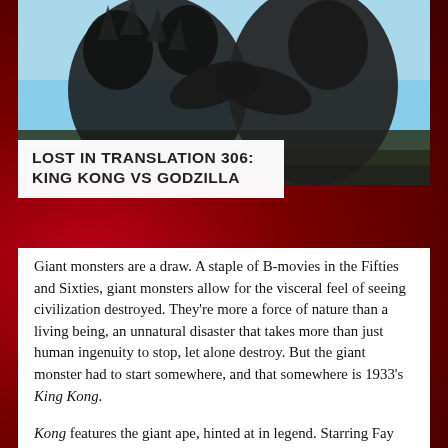[Figure (photo): Two large monster creatures (King Kong and Godzilla) grappling against a blue sky background — dark silhouetted figures in combat]
LOST IN TRANSLATION 306: KING KONG VS GODZILLA
Giant monsters are a draw. A staple of B-movies in the Fifties and Sixties, giant monsters allow for the visceral feel of seeing civilization destroyed. They're more a force of nature than a living being, an unnatural disaster that takes more than just human ingenuity to stop, let alone destroy. But the giant monster had to start somewhere, and that somewhere is 1933's King Kong.
Kong features the giant ape, hinted at in legend. Starring Fay Wray as aspiring actress Ann Darrow, Robert Armstrong as infamous director Carl Denham, Bruce Cabot as love interest Jack Driscoll, and Frank Reicher as Captain Englehorn, Kong tells the story of one man's obsession to be the most successful and famous director and one ape's tragic encounter